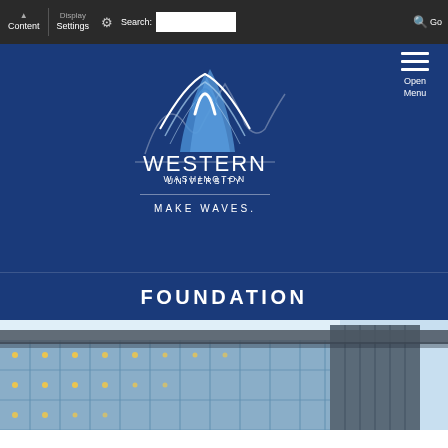Content  Display Settings  ⚙  Search:  🔍 Go
[Figure (logo): Western Washington University logo with mountain/wave graphic and text WESTERN WASHINGTON UNIVERSITY MAKE WAVES.]
FOUNDATION
[Figure (photo): Modern university building with glass facade and metal panels, photographed at dusk/evening with interior lights visible, against a pale blue sky]